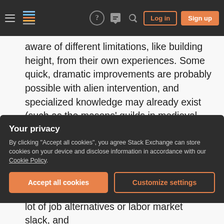Stack Exchange navigation bar with hamburger menu, logo, help, chat, search icons, Log in and Sign up buttons
aware of different limitations, like building height, from their own experiences. Some quick, dramatic improvements are probably possible with alien intervention, and specialized knowledge may already exist (such as the masons' guilds in medieval Europe).
Some sociopolitical ideas: Specifically, the medievals will need to be prepared for (relatively) rapid changes in their society compared with how things have been for generations. As a significant example, suddenly
Your privacy
By clicking "Accept all cookies", you agree Stack Exchange can store cookies on your device and disclose information in accordance with our Cookie Policy.
Accept all cookies
Customize settings
lot of job alternatives or labor market slack, and